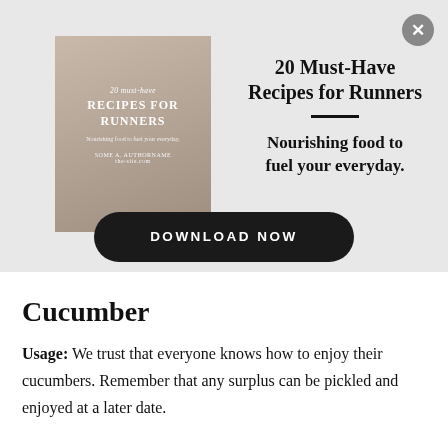[Figure (illustration): Book cover for '20 Must-Have Recipes for Runners' showing granola bars and nuts on a white surface]
20 Must-Have Recipes for Runners
Nourishing food to fuel your everyday.
DOWNLOAD NOW
Cucumber
Usage: We trust that everyone knows how to enjoy their cucumbers. Remember that any surplus can be pickled and enjoyed at a later date.